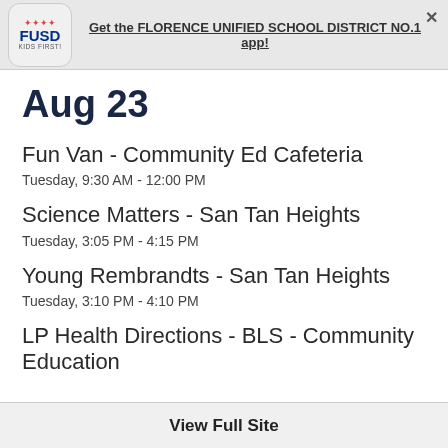Get the FLORENCE UNIFIED SCHOOL DISTRICT NO.1 app!
Aug 23
Fun Van - Community Ed Cafeteria
Tuesday, 9:30 AM - 12:00 PM
Science Matters - San Tan Heights
Tuesday, 3:05 PM - 4:15 PM
Young Rembrandts - San Tan Heights
Tuesday, 3:10 PM - 4:10 PM
LP Health Directions - BLS - Community Education
View Full Site